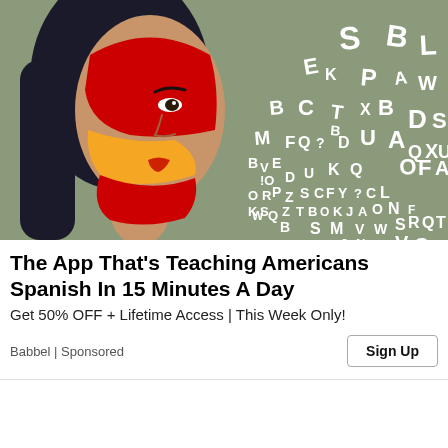[Figure (photo): Advertisement image showing a woman with her face painted with the Spanish flag (red and yellow), with white alphabet letters floating/scattered around her on a muted green-grey background.]
The App That's Teaching Americans Spanish In 15 Minutes A Day
Get 50% OFF + Lifetime Access | This Week Only!
Babbel | Sponsored
Sign Up